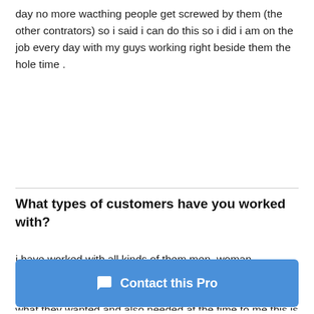day no more wacthing people get screwed by them (the other contrators) so i said i can do this so i did i am on the job every day with my guys working right beside them the hole time .
What types of customers have you worked with?
i have worked with all kinds of them men ,woman ,gay,stright ,mean,nice and also the older people on fixed incomes .but i allway's keep it about the homeowners and what they wanted and also needed at the time.to me this is a loaded qustion in my thoughts everyone is all the same .plain and simply u treat me good i treat u good
Contact this Pro